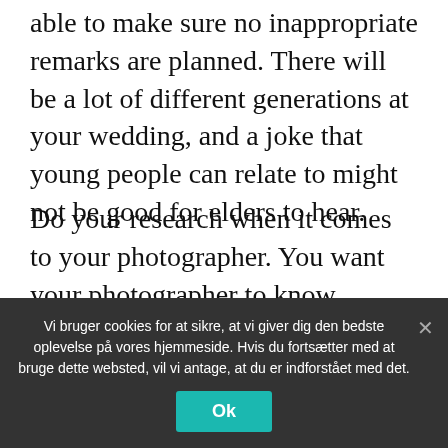able to make sure no inappropriate remarks are planned. There will be a lot of different generations at your wedding, and a joke that young people can relate to might not be good for elders to hear.
Do your research when it comes to your photographer. You want your photographer to know exactly what they are doing. See if your loved ones know of a good photographer or look at online reviews.
It is obvious that that most important aspect to think about in a marriage is the one whom you will marry. There is not need to hurry this important choice.
Vi bruger cookies for at sikre, at vi giver dig den bedste oplevelse på vores hjemmeside. Hvis du fortsætter med at bruge dette websted, vil vi antage, at du er indforstået med det.
Ok